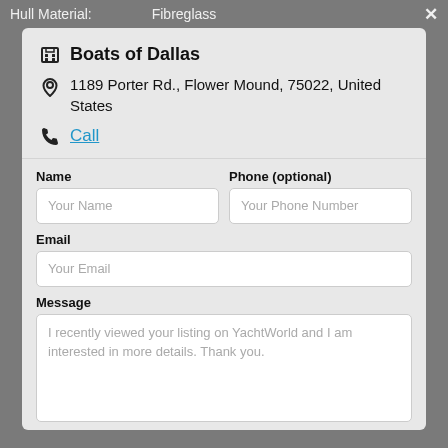Hull Material: Fibreglass
Boats of Dallas
1189 Porter Rd., Flower Mound, 75022, United States
Call
Name
Your Name
Phone (optional)
Your Phone Number
Email
Your Email
Message
I recently viewed your listing on YachtWorld and I am interested in more details. Thank you.
Contact Broker